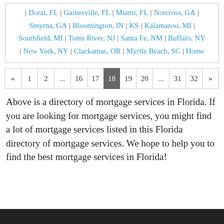| Doral, FL | Gainesville, FL | Miami, FL | Norcross, GA | Smyrna, GA | Bloomington, IN | KS | Kalamazoo, MI | Southfield, MI | Toms River, NJ | Santa Fe, NM | Buffalo, NY | New York, NY | Clackamas, OR | Myrtle Beach, SC | Home
« 1 2 ... 16 17 18 19 20 ... 31 32 »
Above is a directory of mortgage services in Florida. If you are looking for mortgage services, you might find a lot of mortgage services listed in this Florida directory of mortgage services. We hope to help you to find the best mortgage services in Florida!